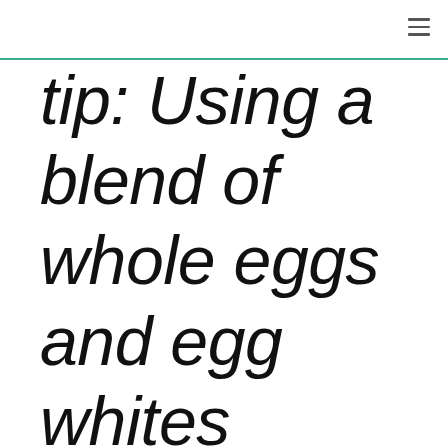tip: Using a blend of whole eggs and egg whites allows you to cut back on calories